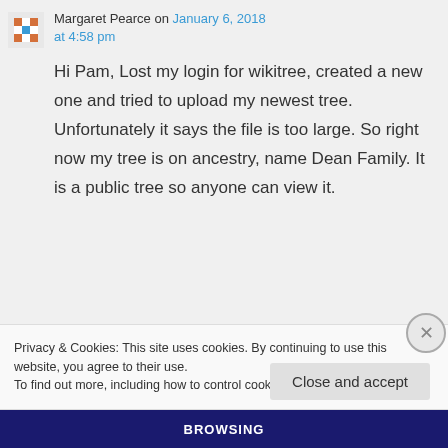Margaret Pearce on January 6, 2018 at 4:58 pm
Hi Pam, Lost my login for wikitree, created a new one and tried to upload my newest tree. Unfortunately it says the file is too large. So right now my tree is on ancestry, name Dean Family. It is a public tree so anyone can view it.
Privacy & Cookies: This site uses cookies. By continuing to use this website, you agree to their use.
To find out more, including how to control cookies, see here: Cookie Policy
Close and accept